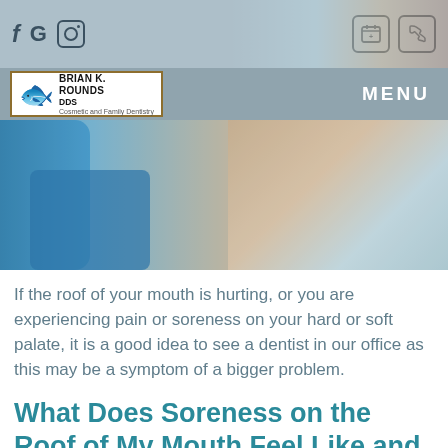[Figure (screenshot): Website header with social media icons (f, G, Instagram) on left and calendar/phone icons on right, on a blue-grey background]
MENU
[Figure (logo): Brian K. Rounds DDS logo with koi fish illustration, text reading BRIAN K. ROUNDS DDS, Cosmetic and Family Dentistry]
[Figure (photo): Dental office photo showing a patient in a blue dental chair with a dental professional, teal/blue tones]
If the roof of your mouth is hurting, or you are experiencing pain or soreness on your hard or soft palate, it is a good idea to see a dentist in our office as this may be a symptom of a bigger problem.
What Does Soreness on the Roof of My Mouth Feel Like and What Could be Causing it?